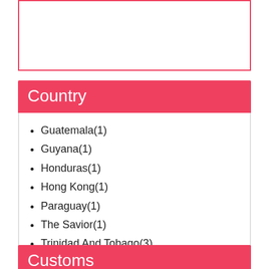[Figure (other): Empty white box with pink/red border at top of page]
Country
Guatemala(1)
Guyana(1)
Honduras(1)
Hong Kong(1)
Paraguay(1)
The Savior(1)
Trinidad And Tobago(3)
Show All Data
Customs